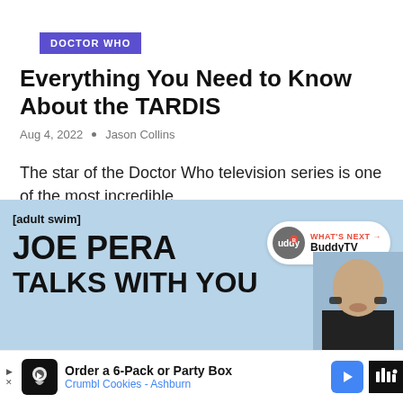DOCTOR WHO
Everything You Need to Know About the TARDIS
Aug 4, 2022 · Jason Collins
The star of the Doctor Who television series is one of the most incredible …
[Figure (other): Like/heart button with count of 1 and share button]
[Figure (other): Video banner for [adult swim] Joe Pera Talks With You with BuddyTV overlay badge]
[Figure (other): Advertisement banner: Order a 6-Pack or Party Box, Crumbl Cookies - Ashburn]